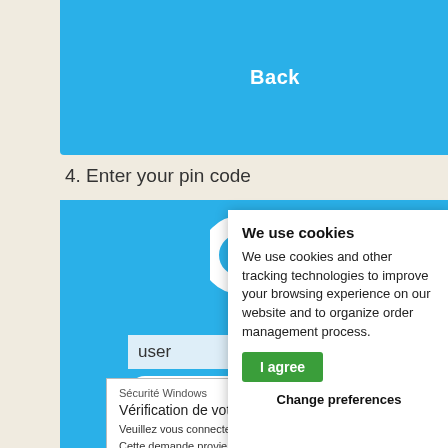[Figure (screenshot): Blue 'Back' button area at top of mobile app screen]
4. Enter your pin code
[Figure (screenshot): Blue login screen with logo, user field, Log button, and Back text; overlaid by Windows Security dialog showing 'Vérification de votre identité' with redacted field and Vivaldi Technologies AS text]
We use cookies
We use cookies and other tracking technologies to improve your browsing experience on our website and to organize order management process.
I agree
Change preferences